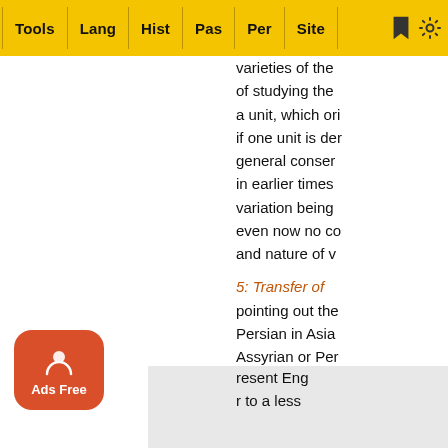Tools | Lang | Hist | Pas | Per | Site
varieties of the of studying the a unit, which ori if one unit is den general consen in earlier times variation being even now no co and nature of v
5: Transfer of
pointing out the Persian in Asia Assyrian or Per of length may b foot, and the lat seldom occurs (resent Eng r to a less